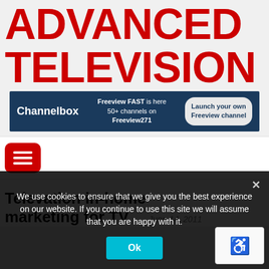ADVANCED TELEVISION
[Figure (infographic): Channelbox advertisement banner: dark blue background, Channelbox logo on left, center text 'Freeview FAST is here 50+ channels on Freeview271', right panel 'Launch your own Freeview channel']
[Figure (other): Red rounded square hamburger/menu button with three white horizontal lines]
Televation in-home marketing for TV
June 14, 2011
We use cookies to ensure that we give you the best experience on our website. If you continue to use this site we will assume that you are happy with it.
Ok